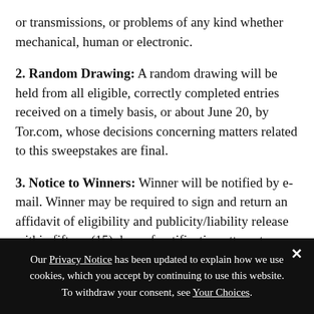or transmissions, or problems of any kind whether mechanical, human or electronic.
2. Random Drawing: A random drawing will be held from all eligible, correctly completed entries received on a timely basis, or about June 20, by Tor.com, whose decisions concerning all matters related to this sweepstakes are final.
3. Notice to Winners: Winner will be notified by e-mail. Winner may be required to sign and return an affidavit of eligibility and publicity/liability release within fifteen (15) days of notification attempt or prize may be awarded to alternate winner. Return of any prize notification as undeliverable will result in disqualification and alternate winner will be selected. If an
Our Privacy Notice has been updated to explain how we use cookies, which you accept by continuing to use this website. To withdraw your consent, see Your Choices.